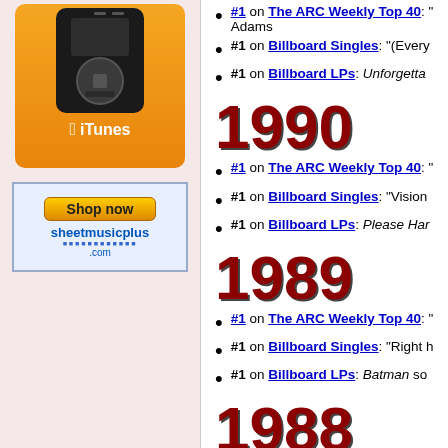[Figure (other): iTunes advertisement with iPod image and orange background]
[Figure (other): SheetMusicPlus.com Shop now advertisement]
1990
#1 on The ARC Weekly Top 40:
#1 on Billboard Singles: "(Every...
#1 on Billboard LPs: Unforgetta...
1989
#1 on The ARC Weekly Top 40:
#1 on Billboard Singles: "Vision...
#1 on Billboard LPs: Please Har...
1988
#1 on The ARC Weekly Top 40:
#1 on Billboard Singles: "Right h...
#1 on Billboard LPs: Batman so...